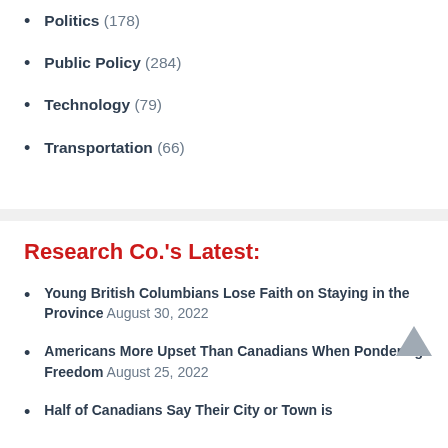Politics (178)
Public Policy (284)
Technology (79)
Transportation (66)
Research Co.'s Latest:
Young British Columbians Lose Faith on Staying in the Province August 30, 2022
Americans More Upset Than Canadians When Pondering Freedom August 25, 2022
Half of Canadians Say Their City or Town is